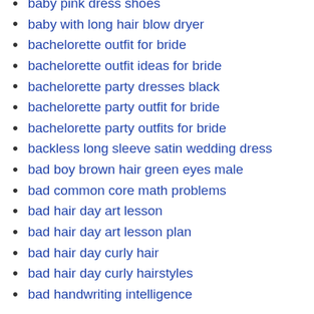baby pink dress shoes
baby with long hair blow dryer
bachelorette outfit for bride
bachelorette outfit ideas for bride
bachelorette party dresses black
bachelorette party outfit for bride
bachelorette party outfits for bride
backless long sleeve satin wedding dress
bad boy brown hair green eyes male
bad common core math problems
bad hair day art lesson
bad hair day art lesson plan
bad hair day curly hair
bad hair day curly hairstyles
bad handwriting intelligence